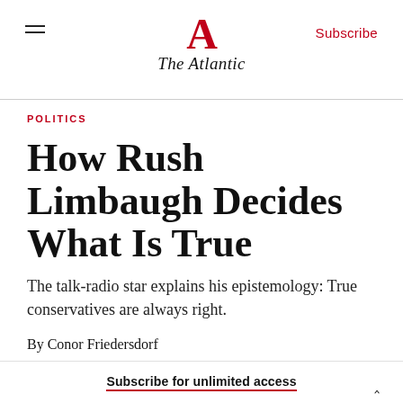The Atlantic
POLITICS
How Rush Limbaugh Decides What Is True
The talk-radio star explains his epistemology: True conservatives are always right.
By Conor Friedersdorf
Subscribe for unlimited access